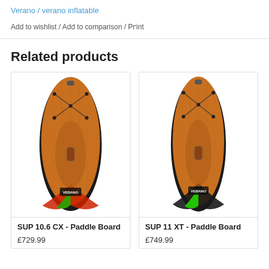Verano / verano inflatable
Add to wishlist / Add to comparison / Print
Related products
[Figure (photo): SUP 10.6 CX inflatable paddle board viewed from above, wood-grain orange deck with black edges, red and green tail accent, Verano logo]
SUP 10.6 CX - Paddle Board
£729.99
[Figure (photo): SUP 11 XT inflatable paddle board viewed from above, wood-grain orange deck with black edges, green tail accent, Verano logo]
SUP 11 XT - Paddle Board
£749.99